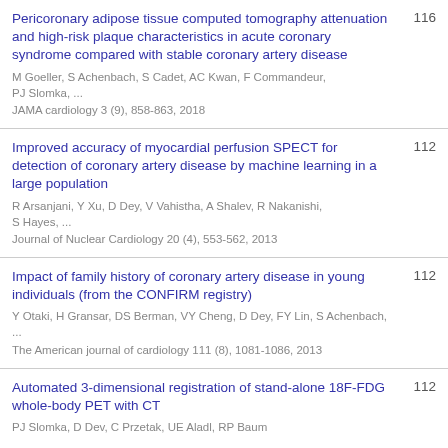Pericoronary adipose tissue computed tomography attenuation and high-risk plaque characteristics in acute coronary syndrome compared with stable coronary artery disease | M Goeller, S Achenbach, S Cadet, AC Kwan, F Commandeur, PJ Slomka, ... | JAMA cardiology 3 (9), 858-863, 2018 | 116
Improved accuracy of myocardial perfusion SPECT for detection of coronary artery disease by machine learning in a large population | R Arsanjani, Y Xu, D Dey, V Vahistha, A Shalev, R Nakanishi, S Hayes, ... | Journal of Nuclear Cardiology 20 (4), 553-562, 2013 | 112
Impact of family history of coronary artery disease in young individuals (from the CONFIRM registry) | Y Otaki, H Gransar, DS Berman, VY Cheng, D Dey, FY Lin, S Achenbach, ... | The American journal of cardiology 111 (8), 1081-1086, 2013 | 112
Automated 3-dimensional registration of stand-alone 18F-FDG whole-body PET with CT | PJ Slomka, D Dev, C Przetak, UE Aladl, RP Baum | 112